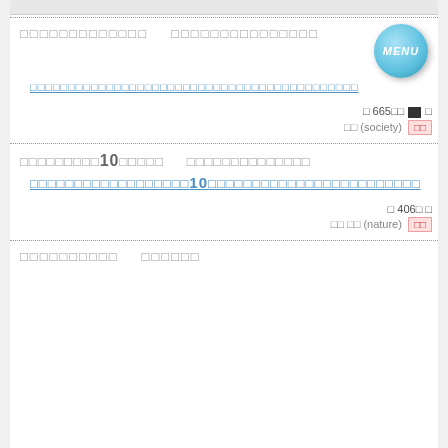□□□□□□□□□□□□□   □□□□□□□□□□□□□□□
□□□□□□□□□□□□□□□□□□□□□□□□□□□□□□□□□□□□□□□□□□□
[Figure (illustration): Blue circular MENU button]
□ 665□□ □ □
□□ (society)  □□
□□□□□□□□□10□□□□   □□□□□□□□□□□□□□
□□□□□□□□□□□□□□□□□□10□□□□□□□□□□□□□□□□□□□□□□□
□ 406□ □
□□ □□ (nature)  □□
□□□□□□□□□□   □□□□□□